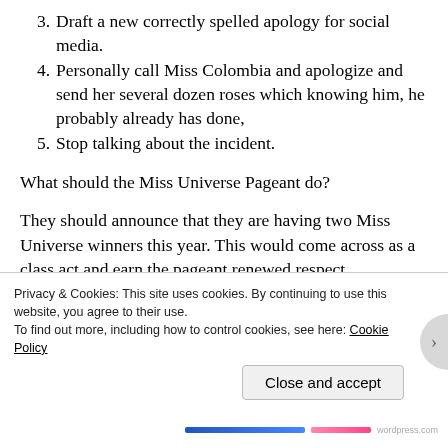3. Draft a new correctly spelled apology for social media.
4. Personally call Miss Colombia and apologize and send her several dozen roses which knowing him, he probably already has done,
5. Stop talking about the incident.
What should the Miss Universe Pageant do?
They should announce that they are having two Miss Universe winners this year. This would come across as a class act and earn the pageant renewed respect.
The one true winner from this gaffe has been Miss Colombia, Ariadna Gutierrez Arevalo who has handled the
Privacy & Cookies: This site uses cookies. By continuing to use this website, you agree to their use.
To find out more, including how to control cookies, see here: Cookie Policy
Close and accept